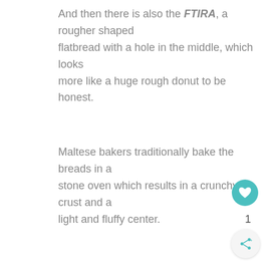And then there is also the FTIRA, a rougher shaped flatbread with a hole in the middle, which looks more like a huge rough donut to be honest.
Maltese bakers traditionally bake the breads in a stone oven which results in a crunchy crust and a light and fluffy center.